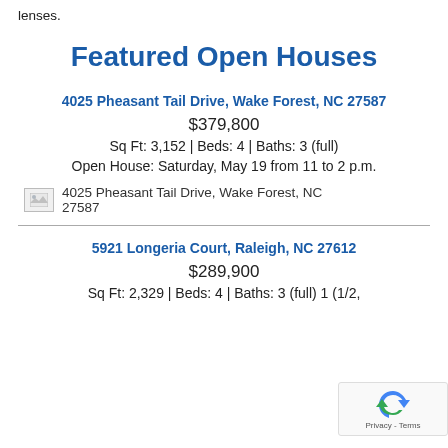lenses.
Featured Open Houses
4025 Pheasant Tail Drive, Wake Forest, NC 27587
$379,800
Sq Ft: 3,152 | Beds: 4 | Baths: 3 (full)
Open House: Saturday, May 19 from 11 to 2 p.m.
[Figure (photo): Placeholder image for 4025 Pheasant Tail Drive, Wake Forest, NC 27587]
5921 Longeria Court, Raleigh, NC 27612
$289,900
Sq Ft: 2,329 | Beds: 4 | Baths: 3 (full) 1 (1/2,